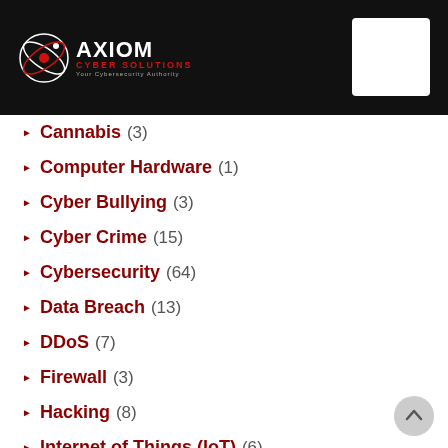Axiom Cyber Solutions
Cannabis (3)
Computer Hardware (1)
Cyber Bullying (3)
Cyber Crime (15)
Cybersecurity (64)
Data Breach (13)
DDoS (7)
Firewall (3)
Hacking (8)
Internet of Things (IoT) (6)
Malware (5)
Phishing (8)